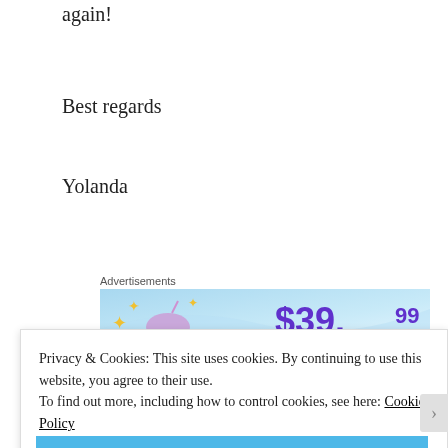again!
Best regards
Yolanda
Advertisements
[Figure (other): Advertisement banner showing $39.99 price with blue gradient background and unicorn graphic]
Nilamber Bellissimo
Privacy & Cookies: This site uses cookies. By continuing to use this website, you agree to their use.
To find out more, including how to control cookies, see here: Cookie Policy
Close and accept